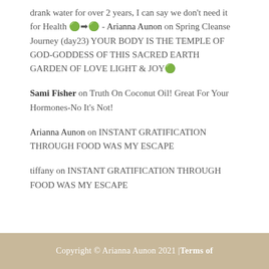drank water for over 2 years, I can say we don't need it for Health 🌿➡️🌿 - Arianna Aunon on Spring Cleanse Journey (day23) YOUR BODY IS THE TEMPLE OF GOD-GODDESS OF THIS SACRED EARTH GARDEN OF LOVE LIGHT & JOY🌿
Sami Fisher on Truth On Coconut Oil! Great For Your Hormones-No It's Not!
Arianna Aunon on INSTANT GRATIFICATION THROUGH FOOD WAS MY ESCAPE
tiffany on INSTANT GRATIFICATION THROUGH FOOD WAS MY ESCAPE
Copyright © Arianna Aunon 2021 | Terms of